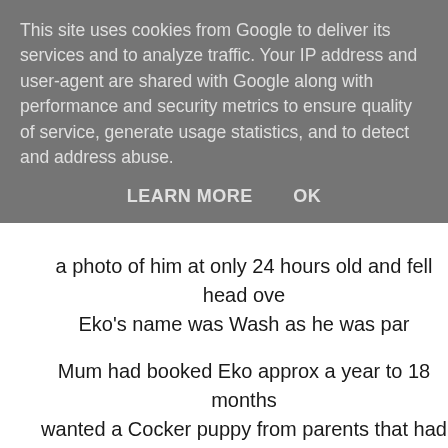This site uses cookies from Google to deliver its services and to analyze traffic. Your IP address and user-agent are shared with Google along with performance and security metrics to ensure quality of service, generate usage statistics, and to detect and address abuse.
LEARN MORE   OK
a photo of him at only 24 hours old and fell head ove Eko's name was Wash as he was par
Mum had booked Eko approx a year to 18 months wanted a Cocker puppy from parents that had pas and genetic testing for the breed, this was to ensur much as is humanly possible b
Those of you that have followed us for many years m an email reply mum recieved from a self de